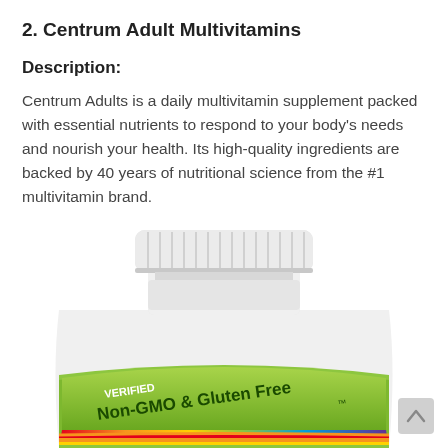2. Centrum Adult Multivitamins
Description:
Centrum Adults is a daily multivitamin supplement packed with essential nutrients to respond to your body's needs and nourish your health. Its high-quality ingredients are backed by 40 years of nutritional science from the #1 multivitamin brand.
[Figure (photo): Centrum Adult Multivitamins bottle showing white ribbed cap and label reading 'VERIFIED Non-GMO & Gluten Free' with rainbow stripe design at the bottom]